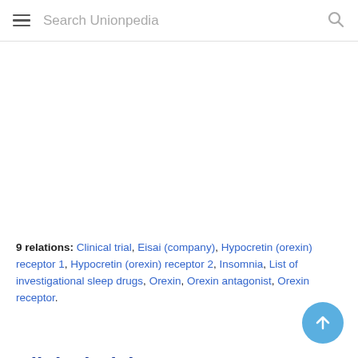Search Unionpedia
9 relations: Clinical trial, Eisai (company), Hypocretin (orexin) receptor 1, Hypocretin (orexin) receptor 2, Insomnia, List of investigational sleep drugs, Orexin, Orexin antagonist, Orexin receptor.
Clinical trial